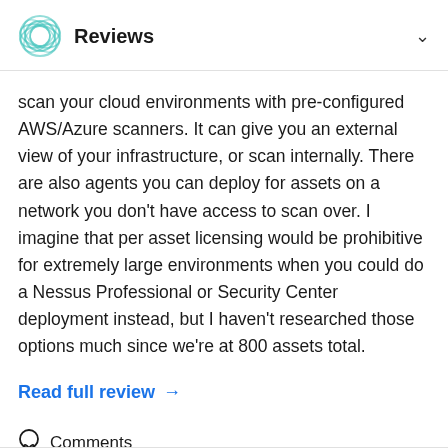Reviews
scan your cloud environments with pre-configured AWS/Azure scanners. It can give you an external view of your infrastructure, or scan internally. There are also agents you can deploy for assets on a network you don't have access to scan over. I imagine that per asset licensing would be prohibitive for extremely large environments when you could do a Nessus Professional or Security Center deployment instead, but I haven't researched those options much since we're at 800 assets total.
Read full review →
Comments